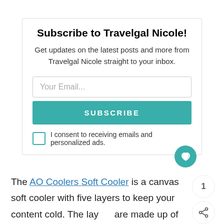Subscribe to Travelgal Nicole!
Get updates on the latest posts and more from Travelgal Nicole straight to your inbox.
Your Email...
SUBSCRIBE
I consent to receiving emails and personalized ads.
The AO Coolers Soft Cooler is a canvas soft cooler with five layers to keep your content cold. The layers are made up of canvas, Polyethylene film, Polyethylene foam, spun Polyester Sheet, TPU leak-proof liner.
WHAT'S NEXT → Best Binoculars...